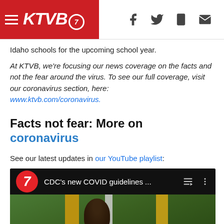KTVB7
Idaho schools for the upcoming school year.
At KTVB, we're focusing our news coverage on the facts and not the fear around the virus. To see our full coverage, visit our coronavirus section, here: www.ktvb.com/coronavirus.
Facts not fear: More on coronavirus
See our latest updates in our YouTube playlist:
[Figure (screenshot): YouTube video player showing KTVB7 channel with video titled 'CDC's new COVID guidelines ...']